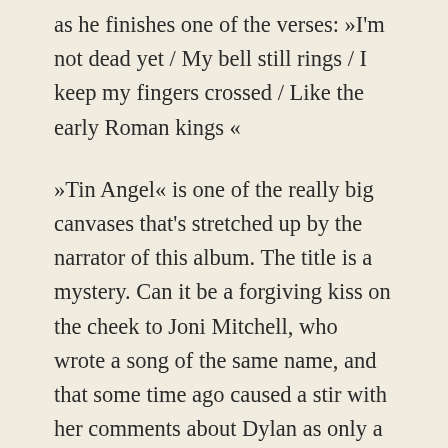as he finishes one of the verses: »I'm not dead yet / My bell still rings / I keep my fingers crossed / Like the early Roman kings «
»Tin Angel« is one of the really big canvases that's stretched up by the narrator of this album. The title is a mystery. Can it be a forgiving kiss on the cheek to Joni Mitchell, who wrote a song of the same name, and that some time ago caused a stir with her comments about Dylan as only a fake and a plagiarist? Maybe not, maybe the title refers to the old folk night club of the same name, and the inspiration from the vast repertoire of songs that were played there. Folk duo Odetta & Larry also released the album known as »The Tin Angel«, recorded live at the club. Odetta was the same artist who once inspired Dylan to obtain acoustic guitar, a transition from electric to acoustic which, when all is